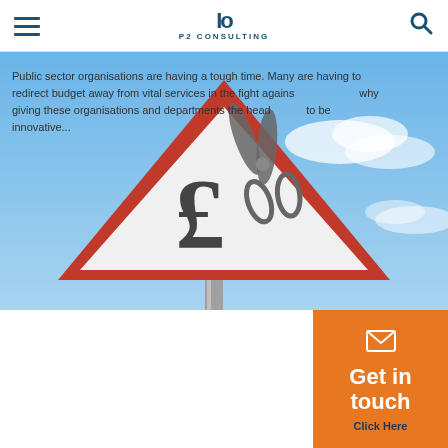P2 CONSULTING
[Figure (photo): Warning road sign showing pound sign with scissors cutting it, against a blue sky background — representing public sector budget cuts]
Why the public sector has to become the master of its own destiny
Public sector organisations are having a tough time. Many are having to redirect budget away from vital services in the fight against... why giving these organisations and departments the head to be innovative...
Get in touch
Click Here